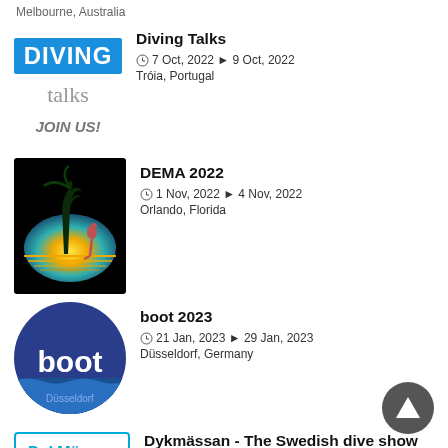Melbourne, Australia
Diving Talks
7 Oct, 2022 ► 9 Oct, 2022
Tróia, Portugal
DEMA 2022
1 Nov, 2022 ► 4 Nov, 2022
Orlando, Florida
boot 2023
21 Jan, 2023 ► 29 Jan, 2023
Düsseldorf, Germany
Dykmässan - The Swedish dive show
18 Mar, 2023 ► 19 Mar, 2023
Stockholm, Sweden
Rebreather Forum 4
20 Apr, 2023 ► 22 Apr, 2023